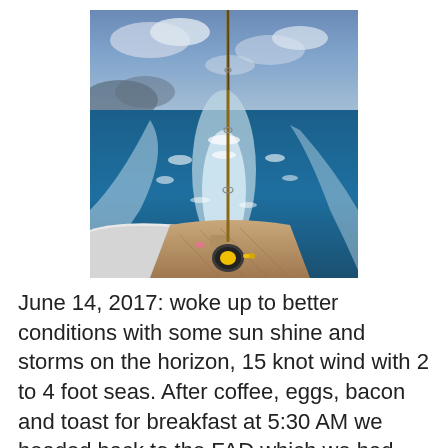[Figure (photo): A fishing rod with reel mounted on the stern of a boat, with churning white water wake behind and deep blue ocean with cloudy sky in the background.]
June 14, 2017: woke up to better conditions with some sun shine and storms on the horizon, 15 knot wind with 2 to 4 foot seas. After coffee, eggs, bacon and toast for breakfast at 5:30 AM we headed back to the FAD which we had drifted 10 miles from during